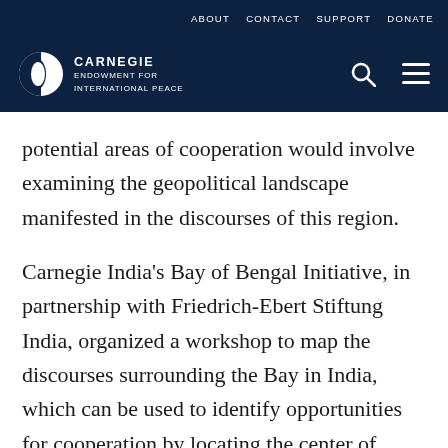ABOUT  CONTACT  SUPPORT  DONATE
[Figure (logo): Carnegie Endowment for International Peace logo with navigation header bar]
potential areas of cooperation would involve examining the geopolitical landscape manifested in the discourses of this region.
Carnegie India's Bay of Bengal Initiative, in partnership with Friedrich-Ebert Stiftung India, organized a workshop to map the discourses surrounding the Bay in India, which can be used to identify opportunities for cooperation by locating the center of political activity...